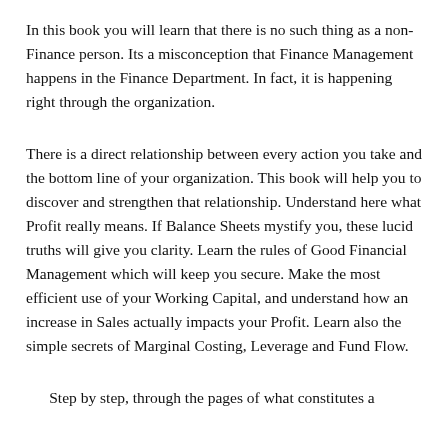In this book you will learn that there is no such thing as a non-Finance person. Its a misconception that Finance Management happens in the Finance Department. In fact, it is happening right through the organization.
There is a direct relationship between every action you take and the bottom line of your organization. This book will help you to discover and strengthen that relationship. Understand here what Profit really means. If Balance Sheets mystify you, these lucid truths will give you clarity. Learn the rules of Good Financial Management which will keep you secure. Make the most efficient use of your Working Capital, and understand how an increase in Sales actually impacts your Profit. Learn also the simple secrets of Marginal Costing, Leverage and Fund Flow.
Step by step, through the pages of what constitutes a...